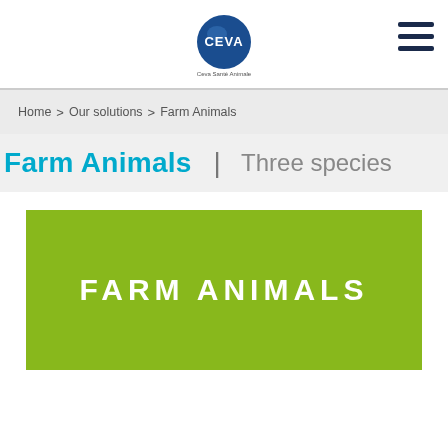[Figure (logo): Ceva Santé Animale logo — blue circle with 'CEVA' text and 'Ceva Santé Animale' below]
Home > Our solutions > Farm Animals
Farm Animals  |  Three species
[Figure (illustration): Green banner with white bold text 'FARM ANIMALS']